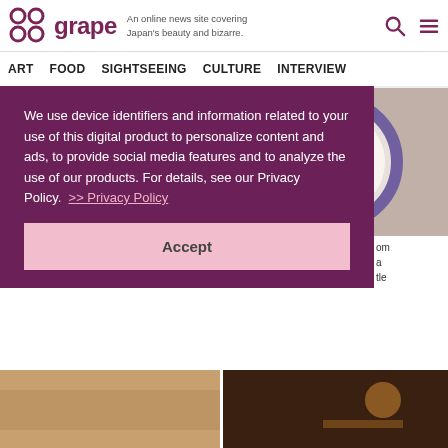grape — An online news site covering Japan's beauty and bizarre.
ART  FOOD  SIGHTSEEING  CULTURE  INTERVIEW
[Figure (photo): Photo of fish-shaped jewelry (necklace and brooch) against white background]
[Figure (photo): Photo of decorative sushi roll shaped like a skull/face viewed from the cut end]
We use device identifiers and information related to your use of this digital product to personalize content and ads, to provide social media features and to analyze the use of our products. For details, see our Privacy Policy.  >> Privacy Policy
Accept
[Figure (photo): Partial photo of food on wooden background (bottom left)]
[Figure (photo): Partial photo of dark food dish (bottom right)]